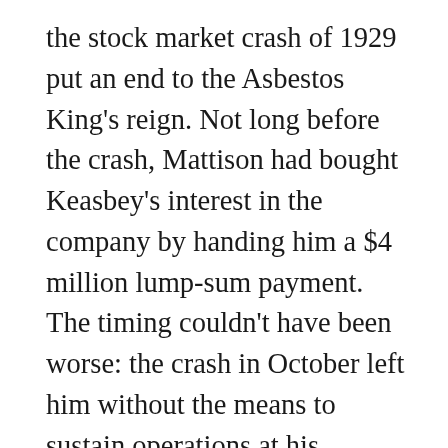the stock market crash of 1929 put an end to the Asbestos King's reign. Not long before the crash, Mattison had bought Keasbey's interest in the company by handing him a $4 million lump-sum payment. The timing couldn't have been worse: the crash in October left him without the means to sustain operations at his factories in Ambler and elsewhere. In 1931 Mattison's creditors removed him as K&M president. The king vacated his castle, let go of most of his 100-plus estate staff, and moved into one of the executive mansions. In 1934, two years before